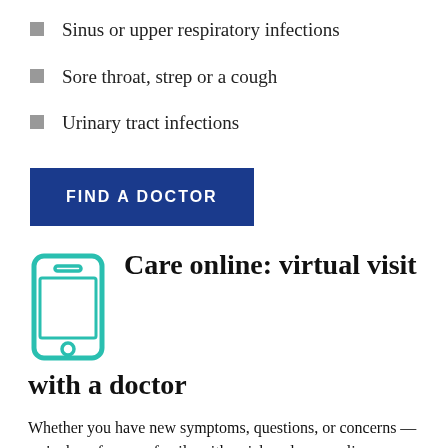Sinus or upper respiratory infections
Sore throat, strep or a cough
Urinary tract infections
FIND A DOCTOR
[Figure (illustration): Teal outline icon of a smartphone]
Care online: virtual visit with a doctor
Whether you have new symptoms, questions, or concerns — we're here for your family with quick and easy online